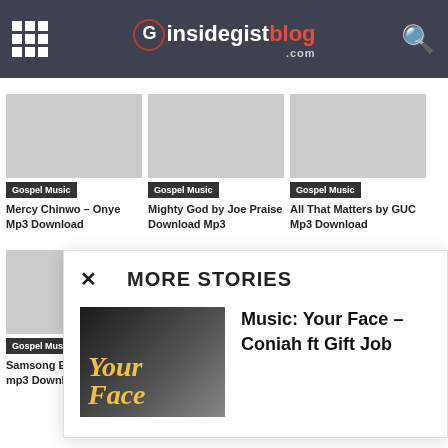insidegistblog.com
Gospel Music — Mercy Chinwo – Onye Mp3 Download
Gospel Music — Mighty God by Joe Praise Download Mp3
Gospel Music — All That Matters by GUC Mp3 Download
Gospel Music — Samsong E Dey W... mp3 Download
MORE STORIES
Music: Your Face – Coniah ft Gift Job